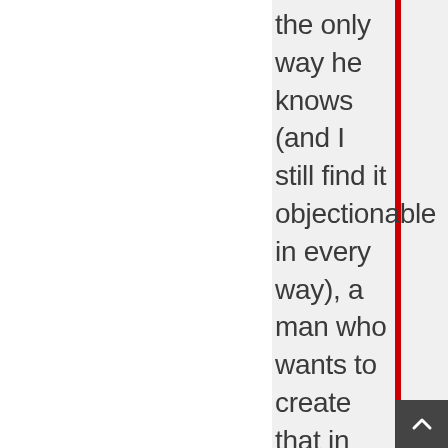the only way he knows (and I still find it objectionable in every way), a man who wants to create that in our culture probably has some narcissistic